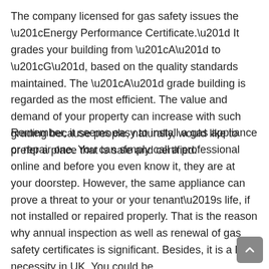The company licensed for gas safety issues the “Energy Performance Certificate.” It grades your building from “A” to “G”, based on the quality standards maintained. The “A” grade building is regarded as the most efficient. The value and demand of your property can increase with such grading because people, naturally, would like to prefer a place that is safe and certified.
Remember, it seems easy to install a gas appliance or repair one. You can simply call a professional online and before you even know it, they are at your doorstep. However, the same appliance can prove a threat to your or your tenant’s life, if not installed or repaired properly. That is the reason why annual inspection as well as renewal of gas safety certificates is significant. Besides, it is a legal necessity in UK. You could be